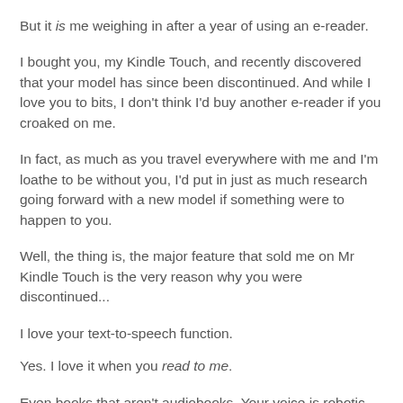But it is me weighing in after a year of using an e-reader.
I bought you, my Kindle Touch, and recently discovered that your model has since been discontinued. And while I love you to bits, I don't think I'd buy another e-reader if you croaked on me.
In fact, as much as you travel everywhere with me and I'm loathe to be without you, I'd put in just as much research going forward with a new model if something were to happen to you.
Well, the thing is, the major feature that sold me on Mr Kindle Touch is the very reason why you were discontinued...
I love your text-to-speech function.
Yes. I love it when you read to me.
Even books that aren't audiobooks. Your voice is robotic, but what it lacks in appeal it makes up for in grammatical charm (and, in absence of context, amusement). And besides, we've